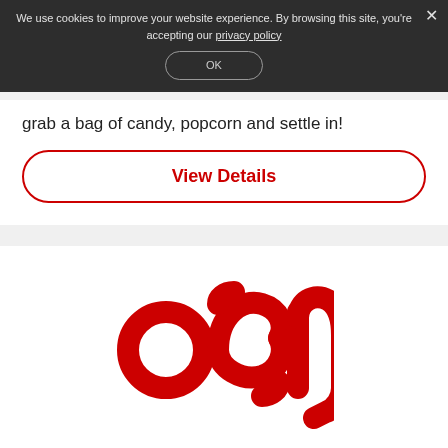We use cookies to improve your website experience. By browsing this site, you're accepting our privacy policy
OK
grab a bag of candy, popcorn and settle in!
View Details
[Figure (logo): OSN logo — bold red stylized lettering spelling 'osn' in lowercase with rounded strokes on a white background]